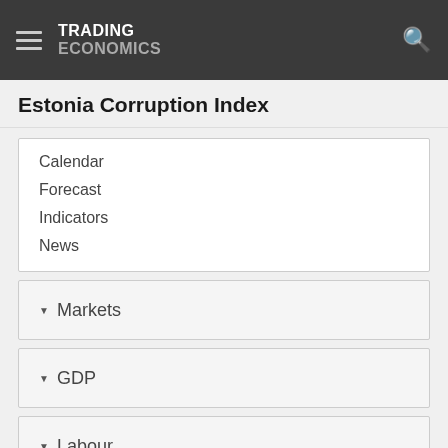TRADING ECONOMICS
Estonia Corruption Index
Calendar
Forecast
Indicators
News
Markets
GDP
Labour
Prices
Health